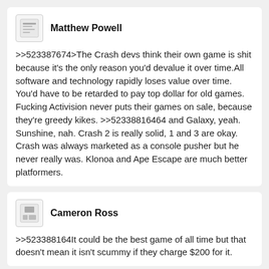Matthew Powell
>>523387674>The Crash devs think their own game is shit because it's the only reason you'd devalue it over time.All software and technology rapidly loses value over time. You'd have to be retarded to pay top dollar for old games. Fucking Activision never puts their games on sale, because they're greedy kikes. >>52338816464 and Galaxy, yeah. Sunshine, nah. Crash 2 is really solid, 1 and 3 are okay. Crash was always marketed as a console pusher but he never really was. Klonoa and Ape Escape are much better platformers.
Cameron Ross
>>523388164It could be the best game of all time but that doesn't mean it isn't scummy if they charge $200 for it.